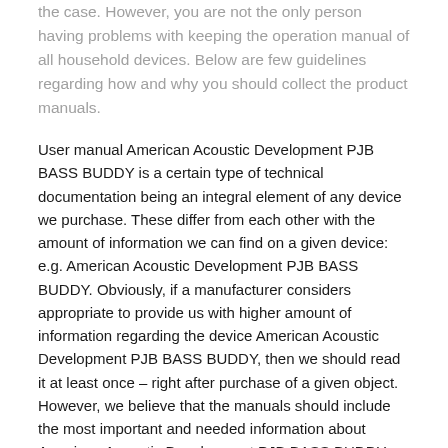the case. However, you are not the only person having problems with keeping the operation manual of all household devices. Below are few guidelines regarding how and why you should collect the product manuals.
User manual American Acoustic Development PJB BASS BUDDY is a certain type of technical documentation being an integral element of any device we purchase. These differ from each other with the amount of information we can find on a given device: e.g. American Acoustic Development PJB BASS BUDDY. Obviously, if a manufacturer considers appropriate to provide us with higher amount of information regarding the device American Acoustic Development PJB BASS BUDDY, then we should read it at least once – right after purchase of a given object. However, we believe that the manuals should include the most important and needed information about American Acoustic Development PJB BASS BUDDY, not to discourage the user to read. Obviously, if a device American Acoustic Development PJB BASS BUDDY has multiple advanced functions, we will not avoid a high amount of information in this document.